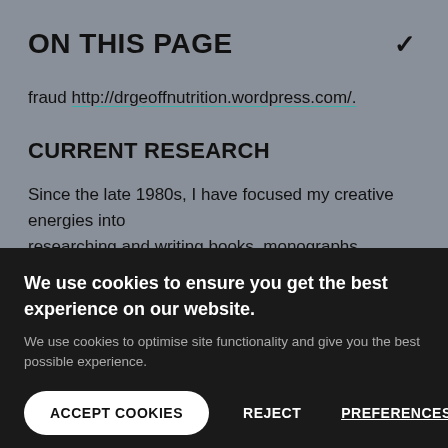ON THIS PAGE
fraud http://drgeoffnutrition.wordpress.com/.
CURRENT RESEARCH
Since the late 1980s, I have focused my creative energies into researching and writing books, monographs, academic
We use cookies to ensure you get the best experience on our website.
We use cookies to optimise site functionality and give you the best possible experience.
ACCEPT COOKIES   REJECT   PREFERENCES